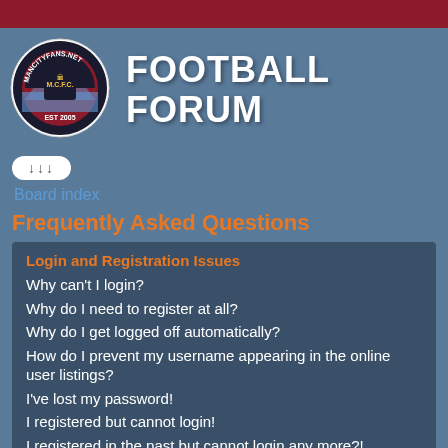[Figure (logo): MancityFans.net M.C.F.C. EST 2005 circular football club badge logo]
FOOTBALL FORUM
↓↓↓
Board index
Frequently Asked Questions
Login and Registration Issues
Why can't I login?
Why do I need to register at all?
Why do I get logged off automatically?
How do I prevent my username appearing in the online user listings?
I've lost my password!
I registered but cannot login!
I registered in the past but cannot login any more?!